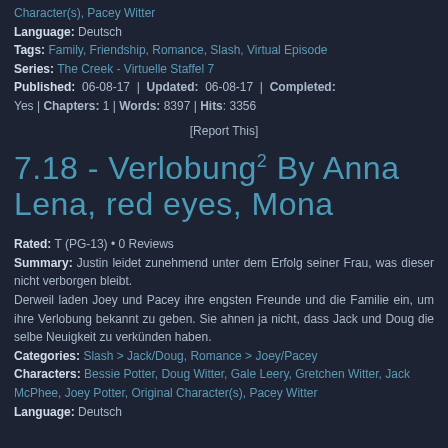Character(s), Pacey Witter
Language: Deutsch
Tags: Family, Friendship, Romance, Slash, Virtual Episode
Series: The Creek - Virtuelle Staffel 7
Published: 06-08-17 | Updated: 06-08-17 | Completed: Yes | Chapters: 1 | Words: 8397 | Hits: 3356
[Report This]
7.18 - Verlobung² By Anna Lena, red eyes, Mona
Rated: T (PG-13) • 0 Reviews
Summary: Justin leidet zunehmend unter dem Erfolg seiner Frau, was dieser nicht verborgen bleibt. Derweil laden Joey und Pacey ihre engsten Freunde und die Familie ein, um ihre Verlobung bekannt zu geben. Sie ahnen ja nicht, dass Jack und Doug die selbe Neuigkeit zu verkünden haben.
Categories: Slash > Jack/Doug, Romance > Joey/Pacey
Characters: Bessie Potter, Doug Witter, Gale Leery, Gretchen Witter, Jack McPhee, Joey Potter, Original Character(s), Pacey Witter
Language: Deutsch